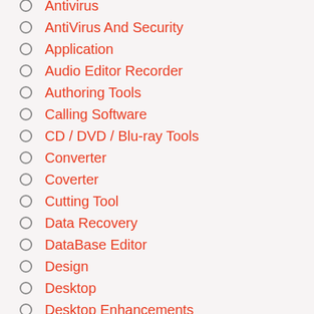Antivirus
AntiVirus And Security
Application
Audio Editor Recorder
Authoring Tools
Calling Software
CD / DVD / Blu-ray Tools
Converter
Coverter
Cutting Tool
Data Recovery
DataBase Editor
Design
Desktop
Desktop Enhancements
DeskTop Tool